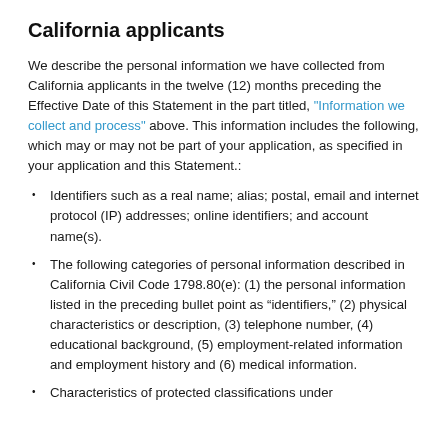California applicants
We describe the personal information we have collected from California applicants in the twelve (12) months preceding the Effective Date of this Statement in the part titled, "Information we collect and process" above. This information includes the following, which may or may not be part of your application, as specified in your application and this Statement.:
Identifiers such as a real name; alias; postal, email and internet protocol (IP) addresses; online identifiers; and account name(s).
The following categories of personal information described in California Civil Code 1798.80(e): (1) the personal information listed in the preceding bullet point as “identifiers,” (2) physical characteristics or description, (3) telephone number, (4) educational background, (5) employment-related information and employment history and (6) medical information.
Characteristics of protected classifications under